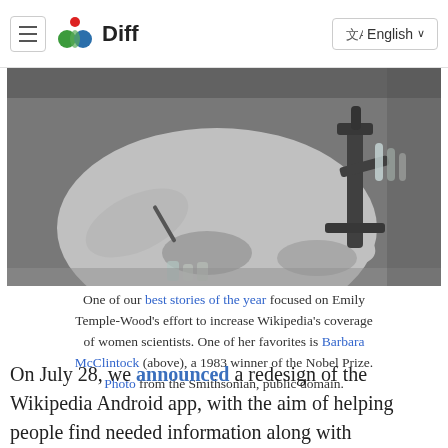Diff — English
[Figure (photo): Black and white photograph of Barbara McClintock working at a laboratory bench with a microscope, handling small specimens or glassware with both hands.]
One of our best stories of the year focused on Emily Temple-Wood's effort to increase Wikipedia's coverage of women scientists. One of her favorites is Barbara McClintock (above), a 1983 winner of the Nobel Prize. Photo from the Smithsonian, public domain.
On July 28, we announced a redesign of the Wikipedia Android app, with the aim of helping people find needed information along with